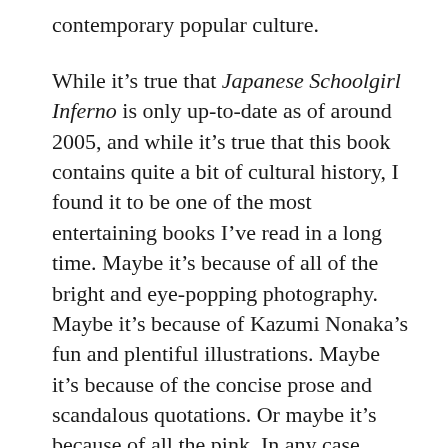contemporary popular culture.
While it's true that Japanese Schoolgirl Inferno is only up-to-date as of around 2005, and while it's true that this book contains quite a bit of cultural history, I found it to be one of the most entertaining books I've read in a long time. Maybe it's because of all of the bright and eye-popping photography. Maybe it's because of Kazumi Nonaka's fun and plentiful illustrations. Maybe it's because of the concise prose and scandalous quotations. Or maybe it's because of all the pink. In any case, once I picked up this cute and trim guidebook, I had a hard time putting it down.